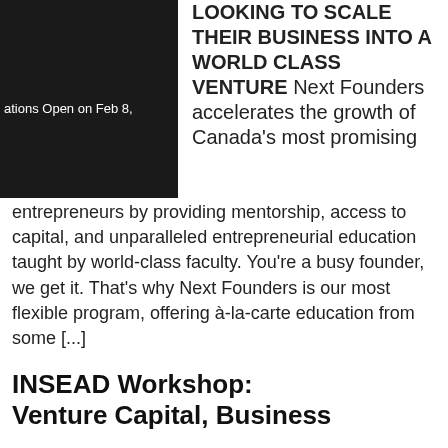[Figure (photo): Dark/black image with white text partially visible reading 'ations Open on Feb 8,']
LOOKING TO SCALE THEIR BUSINESS INTO A WORLD CLASS VENTURE Next Founders accelerates the growth of Canada's most promising entrepreneurs by providing mentorship, access to capital, and unparalleled entrepreneurial education taught by world-class faculty. You're a busy founder, we get it. That's why Next Founders is our most flexible program, offering à-la-carte education from some [...]
INSEAD Workshop: Venture Capital, Business